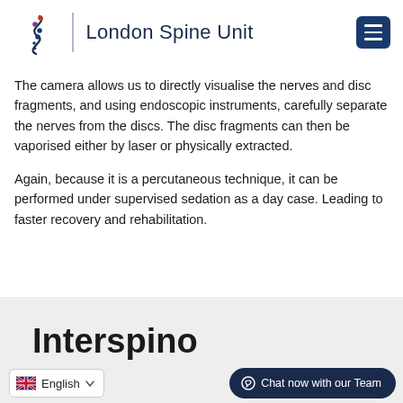[Figure (logo): London Spine Unit logo with spine illustration and text]
The camera allows us to directly visualise the nerves and disc fragments, and using endoscopic instruments, carefully separate the nerves from the discs. The disc fragments can then be vaporised either by laser or physically extracted.
Again, because it is a percutaneous technique, it can be performed under supervised sedation as a day case. Leading to faster recovery and rehabilitation.
Interspino
English
Chat now with our Team